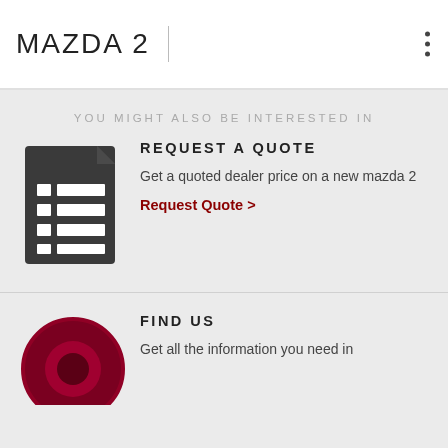MAZDA 2
YOU MIGHT ALSO BE INTERESTED IN
[Figure (illustration): Dark grey document/form icon with white lines representing text fields]
REQUEST A QUOTE
Get a quoted dealer price on a new mazda 2
Request Quote >
[Figure (illustration): Dark red circular location pin / map marker icon, partially visible at bottom]
FIND US
Get all the information you need in